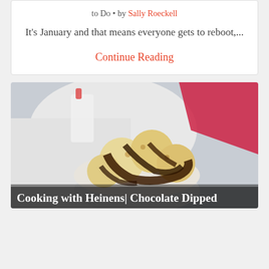to Do • by Sally Roeckell
It's January and that means everyone gets to reboot,...
Continue Reading
[Figure (photo): A white bowl filled with coconut macaroons dipped in dark chocolate sauce, with a glass of milk and red napkin in the background.]
Cooking with Heinens| Chocolate Dipped